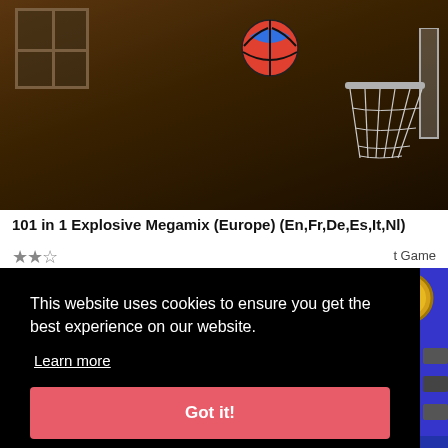[Figure (screenshot): Screenshot of a basketball game showing a basketball in mid-air near a hoop, with a brick wall background and window on the left side.]
101 in 1 Explosive Megamix (Europe) (En,Fr,De,Es,It,Nl)
t Game
This website uses cookies to ensure you get the best experience on our website.
Learn more
Got it!
[Figure (screenshot): Partial screenshot of another game thumbnail showing a purple background with a gold coin/character icon and colored blocks on the right side.]